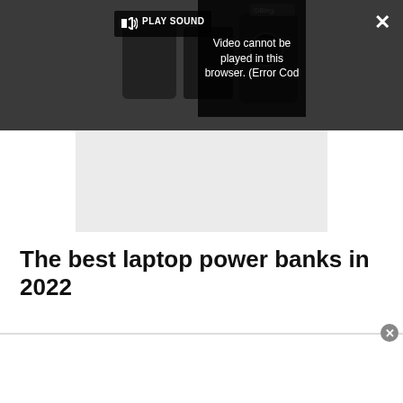[Figure (screenshot): Video player overlay on a dark background showing a browser video error: 'Video cannot be played in this browser. (Error Cod' with a PLAY SOUND button, a close X button, and an expand button.]
The best laptop power banks in 2022
[Figure (screenshot): Bottom advertisement bar with a close button (circled X) at the top right.]